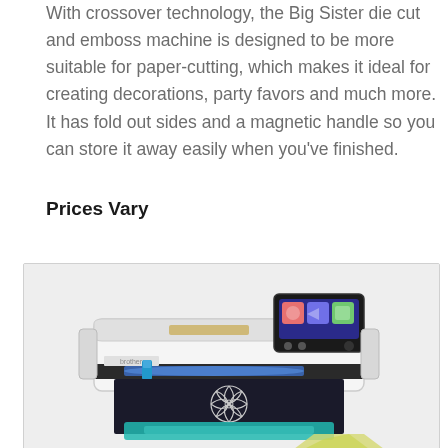With crossover technology, the Big Sister die cut and emboss machine is designed to be more suitable for paper-cutting, which makes it ideal for creating decorations, party favors and much more. It has fold out sides and a magnetic handle so you can store it away easily when you've finished.
Prices Vary
[Figure (photo): Photo of a Brother cutting machine (die cut/emboss machine) with a digital display screen showing colorful icons, cutting a dark piece of material with a floral design pattern. Teal/turquoise cutting mat visible at the bottom.]